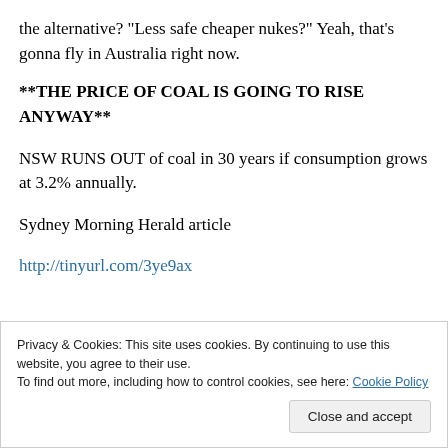the alternative? “Less safe cheaper nukes?” Yeah, that’s gonna fly in Australia right now.
**THE PRICE OF COAL IS GOING TO RISE ANYWAY**
NSW RUNS OUT of coal in 30 years if consumption grows at 3.2% annually.
Sydney Morning Herald article
http://tinyurl.com/3ye9ax
Privacy & Cookies: This site uses cookies. By continuing to use this website, you agree to their use.
To find out more, including how to control cookies, see here: Cookie Policy